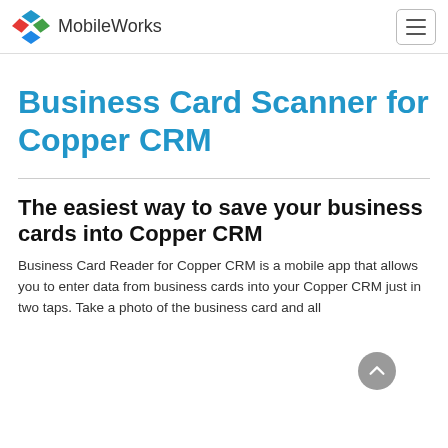MobileWorks
Business Card Scanner for Copper CRM
The easiest way to save your business cards into Copper CRM
Business Card Reader for Copper CRM is a mobile app that allows you to enter data from business cards into your Copper CRM just in two taps. Take a photo of the business card and all